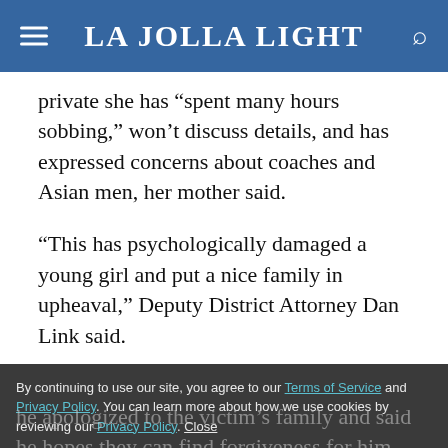La Jolla Light
private she has “spent many hours sobbing,” won’t discuss details, and has expressed concerns about coaches and Asian men, her mother said.
“This has psychologically damaged a young girl and put a nice family in upheaval,” Deputy District Attorney Dan Link said.
Without elaborating, the prosecutor said the attack also had a negative impact on the coaching community.
By continuing to use our site, you agree to our Terms of Service and Privacy Policy. You can learn more about how we use cookies by reviewing our Privacy Policy. Close